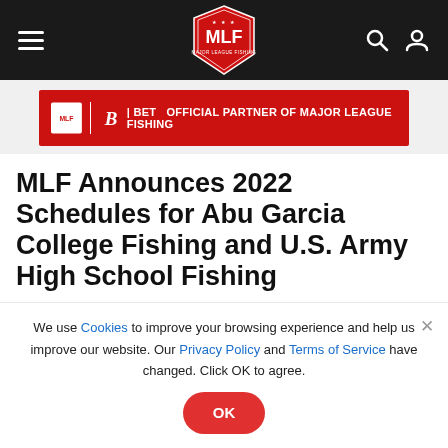MLF Major League Fishing navigation bar with hamburger menu, MLF logo, search and user icons
[Figure (logo): Red advertisement banner: Bassmaster Bet - Official Partner of Major League Fishing]
MLF Announces 2022 Schedules for Abu Garcia College Fishing and U.S. Army High School Fishing
We use Cookies to improve your browsing experience and help us improve our website. Our Privacy Policy and Terms of Service have changed. Click OK to agree.
[Figure (logo): Bottom advertisement banner: SG Logo - Join The Takeover on green background]